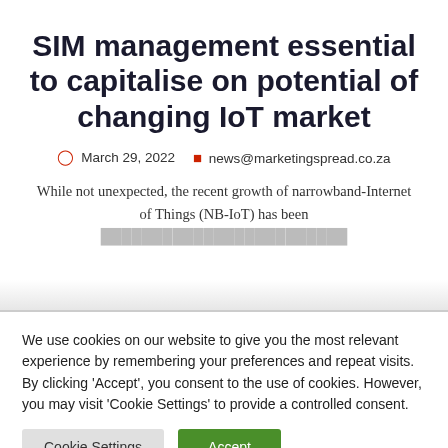SIM management essential to capitalise on potential of changing IoT market
March 29, 2022   news@marketingspread.co.za
While not unexpected, the recent growth of narrowband-Internet of Things (NB-IoT) has been
We use cookies on our website to give you the most relevant experience by remembering your preferences and repeat visits. By clicking 'Accept', you consent to the use of cookies. However, you may visit 'Cookie Settings' to provide a controlled consent.